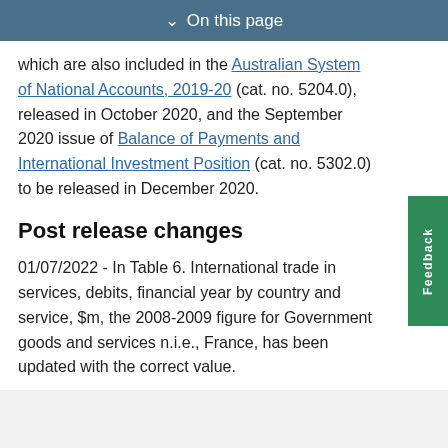On this page
which are also included in the Australian System of National Accounts, 2019-20 (cat. no. 5204.0), released in October 2020, and the September 2020 issue of Balance of Payments and International Investment Position (cat. no. 5302.0) to be released in December 2020.
Post release changes
01/07/2022 - In Table 6. International trade in services, debits, financial year by country and service, $m, the 2008-2009 figure for Government goods and services n.i.e., France, has been updated with the correct value.